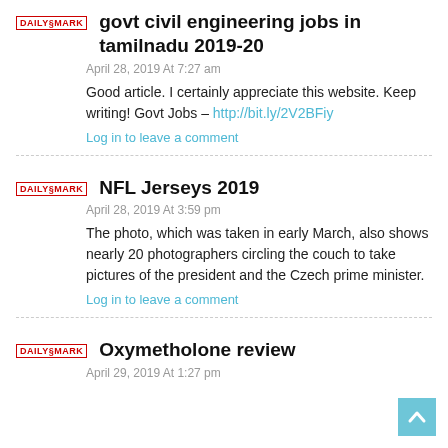[Figure (logo): DailySmark logo in red text with border]
govt civil engineering jobs in tamilnadu 2019-20
April 28, 2019 At 7:27 am
Good article. I certainly appreciate this website. Keep writing! Govt Jobs – http://bit.ly/2V2BFiy
Log in to leave a comment
[Figure (logo): DailySmark logo in red text with border]
NFL Jerseys 2019
April 28, 2019 At 3:59 pm
The photo, which was taken in early March, also shows nearly 20 photographers circling the couch to take pictures of the president and the Czech prime minister.
Log in to leave a comment
[Figure (logo): DailySmark logo in red text with border]
Oxymetholone review
April 29, 2019 At 1:27 pm